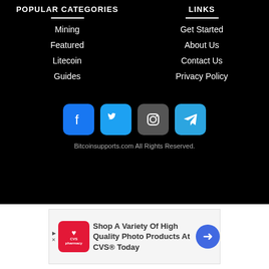POPULAR CATEGORIES
LINKS
Mining
Featured
Litecoin
Guides
Get Started
About Us
Contact Us
Privacy Policy
[Figure (infographic): Social media icons: Facebook, Twitter, Instagram, Telegram]
Bitcoinsupports.com All Rights Reserved.
[Figure (infographic): CVS Pharmacy advertisement: Shop A Variety Of High Quality Photo Products At CVS® Today]